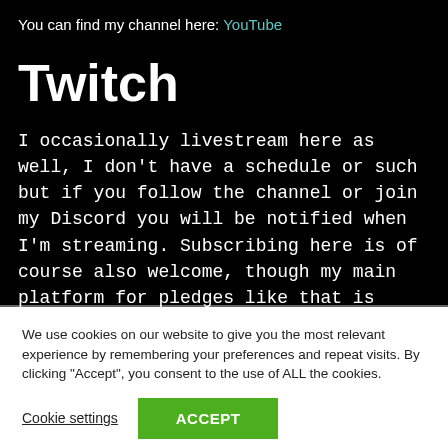You can find my channel here: YouTube
Twitch
I occasionally livestream here as well, I don't have a schedule or such but if you follow the channel or join my Discord you will be notified when I'm streaming. Subscribing here is of course also welcome, though my main platform for pledges like that is Patreon. You
We use cookies on our website to give you the most relevant experience by remembering your preferences and repeat visits. By clicking "Accept", you consent to the use of ALL the cookies.
Cookie settings  ACCEPT